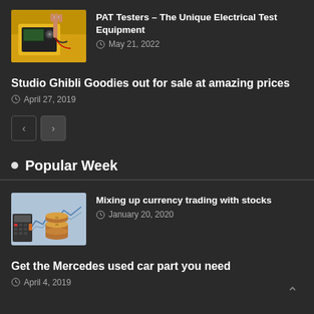[Figure (photo): Photo of hands using PAT testing equipment with yellow device]
PAT Testers – The Unique Electrical Test Equipment
May 21, 2022
Studio Ghibli Goodies out for sale at amazing prices
April 27, 2019
Popular Week
[Figure (photo): Photo of coins stacked on a stock chart with a calculator]
Mixing up currency trading with stocks
January 20, 2020
Get the Mercedes used car part you need
April 4, 2019